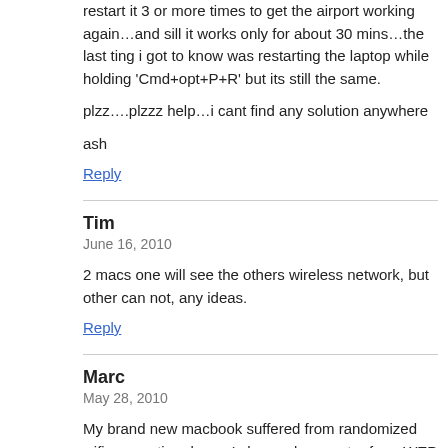restart it 3 or more times to get the airport working again…and sill it works only for about 30 mins…the last ting i got to know was restarting the laptop while holding 'Cmd+opt+P+R' but its still the same.
plzz….plzzz help…i cant find any solution anywhere
ash
Reply
Tim
June 16, 2010
2 macs one will see the others wireless network, but other can not, any ideas.
Reply
Marc
May 28, 2010
My brand new macbook suffered from randomized wifi connection drops. I changed my router from WEP to WPA and the incident was solved. According to the Dutch apple helpdesk engineer, WEP & Macbook wifi can give some problems.